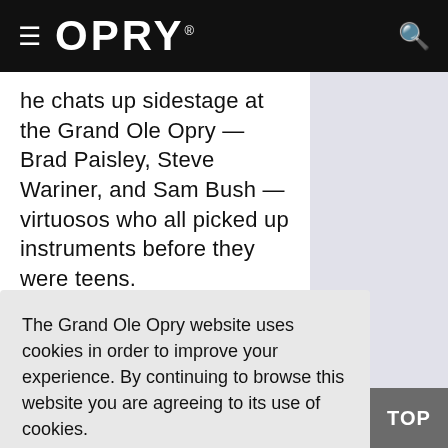OPRY
he chats up sidestage at the Grand Ole Opry — Brad Paisley, Steve Wariner, and Sam Bush — virtuosos who all picked up instruments before they were teens.
The Grand Ole Opry website uses cookies in order to improve your experience. By continuing to browse this website you are agreeing to its use of cookies.
ACCEPT
TOP
dio